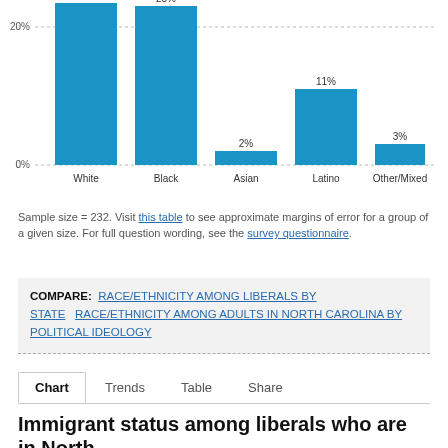[Figure (bar-chart): ]
Sample size = 232. Visit this table to see approximate margins of error for a group of a given size. For full question wording, see the survey questionnaire.
COMPARE: RACE/ETHNICITY AMONG LIBERALS BY STATE  RACE/ETHNICITY AMONG ADULTS IN NORTH CAROLINA BY POLITICAL IDEOLOGY
Chart  Trends  Table  Share
Immigrant status among liberals who are in North